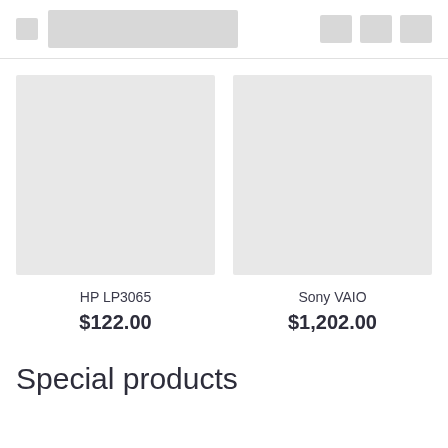[Figure (photo): Placeholder image for HP LP3065 product]
HP LP3065
$122.00
[Figure (photo): Placeholder image for Sony VAIO product]
Sony VAIO
$1,202.00
Special products